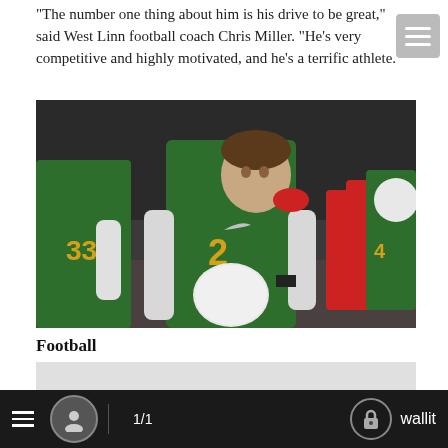"The number one thing about him is his drive to be great," said West Linn football coach Chris Miller. "He's very competitive and highly motivated, and he's a terrific athlete."
[Figure (photo): Football player wearing green and gold jersey number 2, holding a white helmet, standing on field with teammates and opponents visible in background]
Football
[Figure (photo): Partially visible second photo at bottom of page, appears to be a light gray/white image]
1/1   wallit